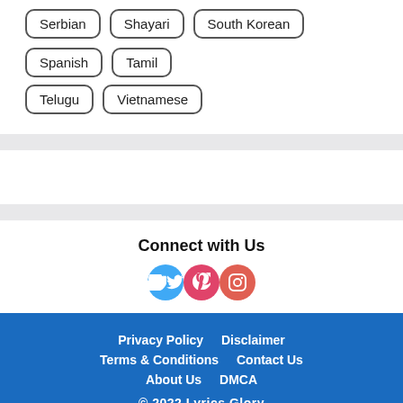Serbian
Shayari
South Korean
Spanish
Tamil
Telugu
Vietnamese
Connect with Us
[Figure (infographic): Three social media icon circles: Twitter (blue), Pinterest (pink-red), Instagram (red-orange)]
Privacy Policy   Disclaimer   Terms & Conditions   Contact Us   About Us   DMCA
© 2022 Lyrics Glory